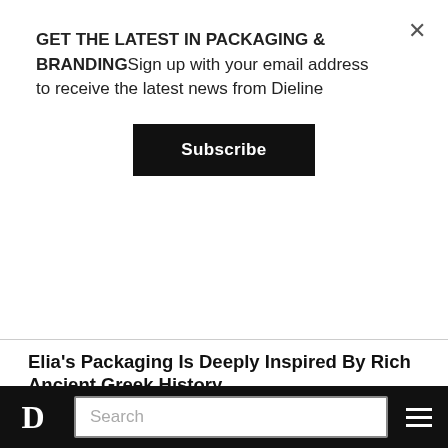GET THE LATEST IN PACKAGING & BRANDINGSign up with your email address to receive the latest news from Dieline
Subscribe
Elia's Packaging Is Deeply Inspired By Rich Ancient Greek History
[Figure (photo): A close-up photograph of a cylindrical fluted/ribbed product package with light purple/lavender colored ridged design, shown against a light beige background. The package appears to be a beauty or skincare product with a metallic element visible.]
D  Search  ≡